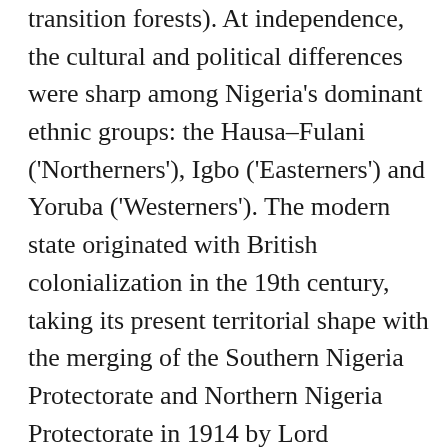transition forests). At independence, the cultural and political differences were sharp among Nigeria's dominant ethnic groups: the Hausa–Fulani ('Northerners'), Igbo ('Easterners') and Yoruba ('Westerners'). The modern state originated with British colonialization in the 19th century, taking its present territorial shape with the merging of the Southern Nigeria Protectorate and Northern Nigeria Protectorate in 1914 by Lord Frederick Lugard. Its biggest cities and towns include Lagos, Kano, Ibadan and Kaduna. Established in 2010, the event takes place over a 3- to 5-day period at selected high-quality outdoor venues. since the Federal Government introduced tough new measures against religious violence in all